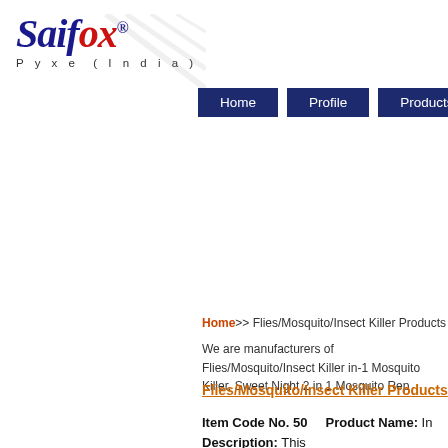[Figure (logo): Saifox Pyxe (India) logo with stylized text in blue and red, registered trademark symbol, and diagonal watermark lines]
Home   Profile   Products
Home>> Flies/Mosquito/Insect Killer Products
We are manufacturers of Flies/Mosquito/Insect Killer in-1 Mosquito Killer, Sweet Night 2 in 1 Mosquito Rep
Flies/Mosquito/Insect Killer Products
Item Code No. 50   Product Name: In
Description: This